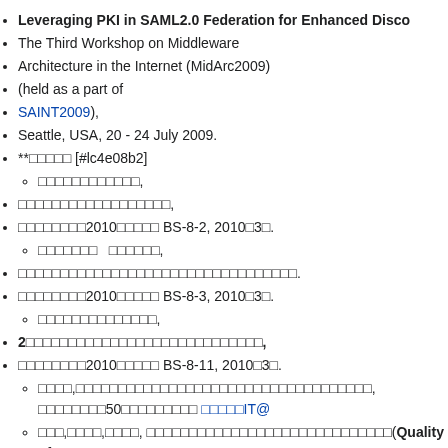Leveraging PKI in SAML2.0 Federation for Enhanced Disco...
The Third Workshop on Middleware
Architecture in the Internet (MidArc2009)
(held as a part of
SAINT2009),
Seattle, USA, 20 - 24 July 2009.
**□□□□□ [#lc4e08b2]
□□□□□□□□□□□□,
□□□□□□□□□□□□□□□□□□,
□□□□□□□□2010□□□□□ BS-8-2, 2010□3□.
□□□□□□□ □□□□□□,
□□□□□□□□□□□□□□□□□□□□□□□□□□□□□□□□□.
□□□□□□□□2010□□□□□ BS-8-3, 2010□3□.
□□□□□□□□□□□□□□,
2□□□□□□□□□□□□□□□□□□□□□□□□□□□□,
□□□□□□□□2010□□□□□ BS-8-11, 2010□3□.
□□□□,□□□□□□□□□□□□□□□□□□□□□□□□□□□□□□□□□□□, □□□□□□□□50□□□□□□□□□ □□□□□IT@...
□□□,□□□□,□□□□, □□□□□□□□□□□□□□□□□□□□□□□□□□□□□(Quality of Energy□□□□□□□□ 2010□3□.
□□□□□□□□□□□□□,
SAML□□□□□□□□□□□□□□□□□□□eduroam□□□□□□□□□,